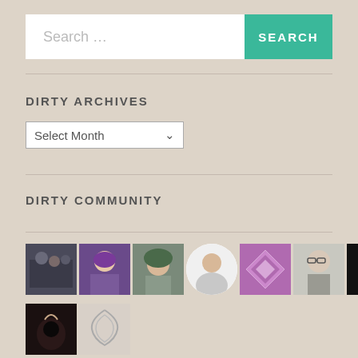[Figure (screenshot): Search bar with text input showing 'Search ...' placeholder and a teal SEARCH button]
DIRTY ARCHIVES
[Figure (screenshot): Dropdown select element showing 'Select Month' with chevron arrow]
DIRTY COMMUNITY
[Figure (photo): Row of community member avatar thumbnails: group of people, purple-haired woman, woman in green hat, woman in white circle, purple diamond pattern, man with glasses, travel logo on black, fire image]
[Figure (photo): Two more thumbnails: dark close-up image, swirl/spiral image]